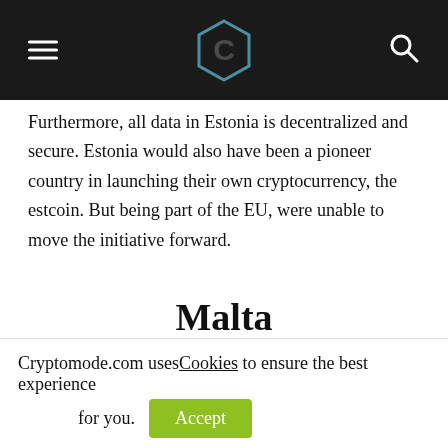CryptoMode navigation header with logo
Furthermore, all data in Estonia is decentralized and secure. Estonia would also have been a pioneer country in launching their own cryptocurrency, the estcoin. But being part of the EU, were unable to move the initiative forward.
Malta
A well-known tax haven popular with expats, Malta is fast becoming known as the “blockchain island.” When powerhouse cryptocurrency exchange Binance announced its move there earlier this year, after looming threats of regulation from Japan, Hong Kong, and China, Binance put
Cryptomode.com uses Cookies to ensure the best experience for you. Accept